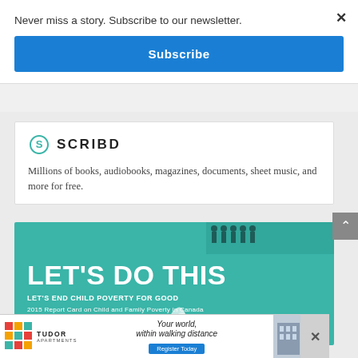Never miss a story. Subscribe to our newsletter.
Subscribe
[Figure (logo): Scribd logo with stylized S icon and SCRIBD wordmark]
Millions of books, audiobooks, magazines, documents, sheet music, and more for free.
[Figure (illustration): Teal book cover: LET'S DO THIS - LET'S END CHILD POVERTY FOR GOOD - 2015 Report Card on Child and Family Poverty in Canada]
[Figure (illustration): Ad banner: Tudor Apartments - Your world, within walking distance - Register Today]